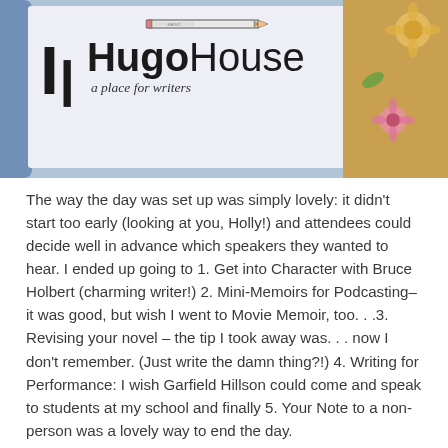[Figure (photo): Photo of a Hugo House tote bag or card showing the Hugo House logo with pencil illustration and the text 'HugoHouse a place for writers', with floral artwork visible on the right side]
The way the day was set up was simply lovely: it didn't start too early (looking at you, Holly!) and attendees could decide well in advance which speakers they wanted to hear. I ended up going to 1. Get into Character with Bruce Holbert (charming writer!) 2. Mini-Memoirs for Podcasting–it was good, but wish I went to Movie Memoir, too. . .3. Revising your novel – the tip I took away was. . . now I don't remember. (Just write the damn thing?!) 4. Writing for Performance: I wish Garfield Hillson could come and speak to students at my school and finally 5. Your Note to a non-person was a lovely way to end the day.